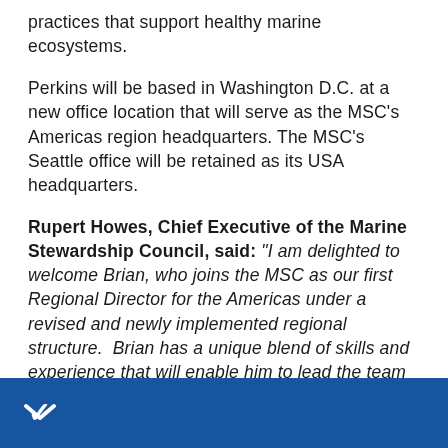practices that support healthy marine ecosystems.
Perkins will be based in Washington D.C. at a new office location that will serve as the MSC's Americas region headquarters. The MSC's Seattle office will be retained as its USA headquarters.
Rupert Howes, Chief Executive of the Marine Stewardship Council, said: "I am delighted to welcome Brian, who joins the MSC as our first Regional Director for the Americas under a revised and newly implemented regional structure. Brian has a unique blend of skills and experience that will enable him to lead the team in their drive to add value to partners. He brings a wealth of knowledge which will help us to expand both the supply and demand of certified sustainable and fully traceable seafood throughout the"
▾